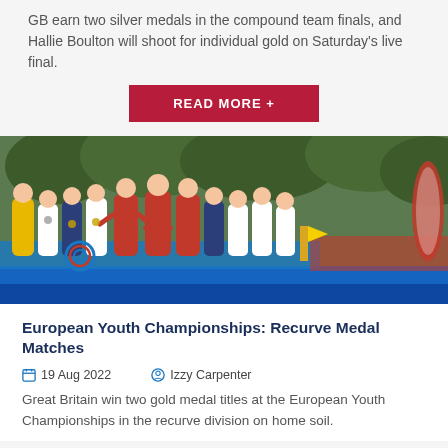GB earn two silver medals in the compound team finals, and Hallie Boulton will shoot for individual gold on Saturday's live final.
READ MORE +
[Figure (photo): Group photo of young female archers on a podium at the European Youth Championships, some making heart shapes with their hands, with a blue podium, sponsor banners, and trees in the background.]
European Youth Championships: Recurve Medal Matches
19 Aug 2022    Izzy Carpenter
Great Britain win two gold medal titles at the European Youth Championships in the recurve division on home soil.